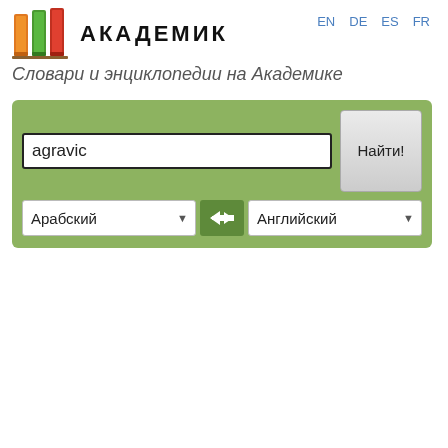EN  DE  ES  FR
[Figure (logo): Akademik logo with three colorful book spines (orange, green, red) and bold text АКАДЕМИК]
АКАДЕМИК
Словари и энциклопедии на Академике
[Figure (screenshot): Search interface with input field containing 'agravic', language dropdowns showing Арабский and Английский, and a Найти! button]